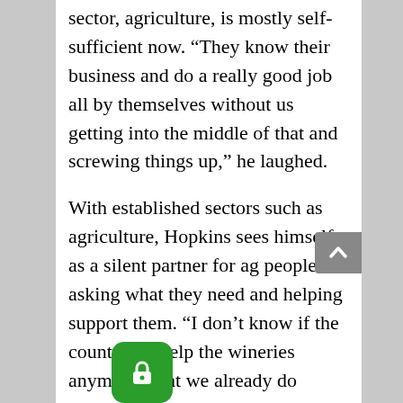sector, agriculture, is mostly self-sufficient now. “They know their business and do a really good job all by themselves without us getting into the middle of that and screwing things up,” he laughed.
With established sectors such as agriculture, Hopkins sees himself as a silent partner for ag people asking what they need and helping support them. “I don’t know if the county can help the wineries anymore what we already do except with signage and partnering with them to market what